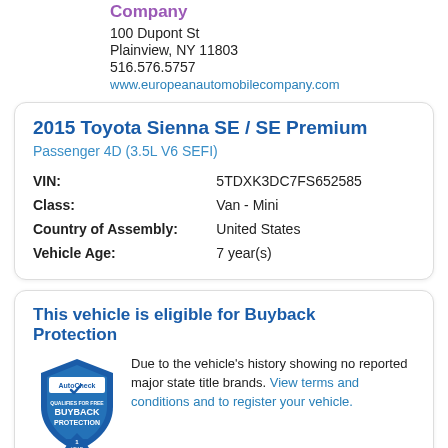Company
100 Dupont St
Plainview, NY 11803
516.576.5757
www.europeanautomobilecompany.com
2015 Toyota Sienna SE / SE Premium
Passenger 4D (3.5L V6 SEFI)
| Field | Value |
| --- | --- |
| VIN: | 5TDXK3DC7FS652585 |
| Class: | Van - Mini |
| Country of Assembly: | United States |
| Vehicle Age: | 7 year(s) |
This vehicle is eligible for Buyback Protection
[Figure (logo): AutoCheck shield badge: Qualifies for Free Buyback Protection, 1 year]
Due to the vehicle's history showing no reported major state title brands. View terms and conditions and to register your vehicle.